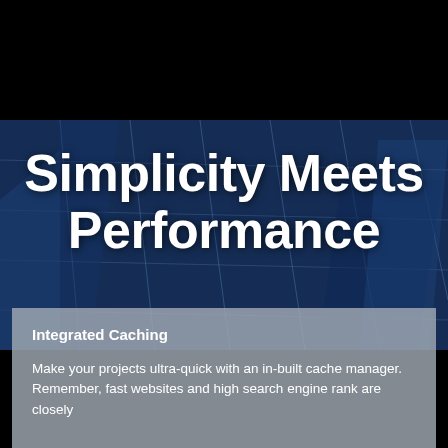[Figure (photo): Dark navy/blue background showing a technology server or data center environment with grid lines and structural elements visible. Top portion is solid black.]
Simplicity Meets Performance
Integrated Caching
Make your projects ultra-quick with an in-built cache manager. Remember, fast websites and high search engine rank are closely